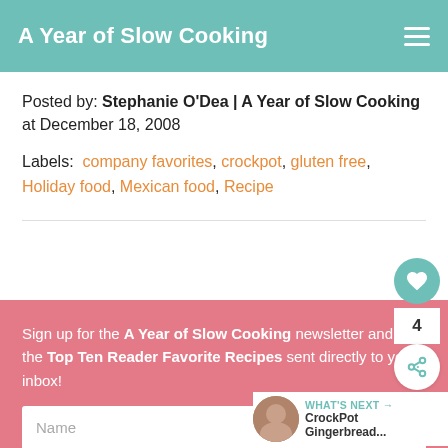A Year of Slow Cooking
Posted by: Stephanie O'Dea | A Year of Slow Cooking at December 18, 2008
Labels: company favorites, crockpot, gluten free, Holiday food, Mexican food, Recipe
Sign up for the A Year of Slow Cooking newsletter and get the Top Ten Reader Favorite Recipes sent directly to your inbox!
Name
Email
WHAT'S NEXT → CrockPot Gingerbread...